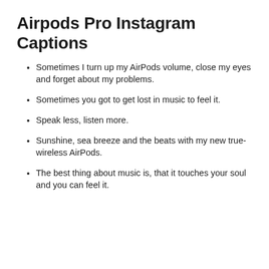Airpods Pro Instagram Captions
Sometimes I turn up my AirPods volume, close my eyes and forget about my problems.
Sometimes you got to get lost in music to feel it.
Speak less, listen more.
Sunshine, sea breeze and the beats with my new true-wireless AirPods.
The best thing about music is, that it touches your soul and you can feel it.